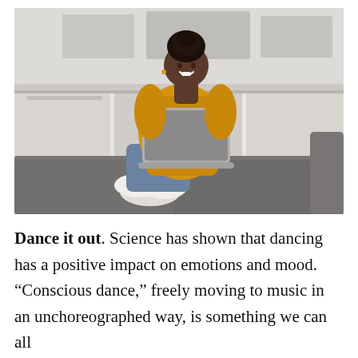[Figure (photo): A smiling Black woman with natural hair in a bun, wearing a yellow knit sweater and jeans, sitting cross-legged on a dark grey sofa with a laptop on her lap, feet in white socks resting on the sofa edge. Background is a white wall with decorative molding and artwork.]
Dance it out. Science has shown that dancing has a positive impact on emotions and mood. “Conscious dance,” freely moving to music in an unchoreographed way, is something we can all